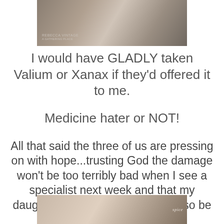[Figure (photo): A vintage-styled photo showing lace and decorative items with text overlay 'REBECCA VINTAGE A Gathering Place']
I would have GLADLY taken Valium or Xanax if they'd offered it to me.
Medicine hater or NOT!
All that said the three of us are pressing on with hope...trusting God the damage won't be too terribly bad when I see a specialist next week and that my daughter and Mr. AGP Man will also be good as new before long!
[Figure (photo): A partial photo at the bottom of the page showing a gathering or shop scene]